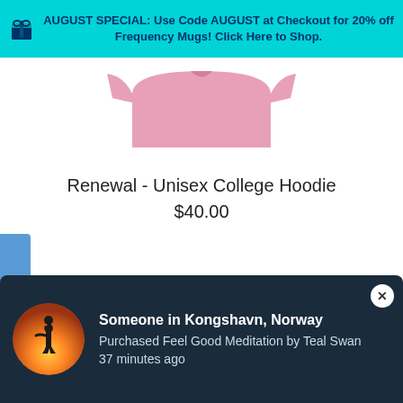AUGUST SPECIAL: Use Code AUGUST at Checkout for 20% off Frequency Mugs! Click Here to Shop.
[Figure (photo): Partial view of a pink unisex college hoodie product image, cropped at top]
Renewal - Unisex College Hoodie
$40.00
My Wishlist
Someone in Kongshavn, Norway
Purchased Feel Good Meditation by Teal Swan
37 minutes ago